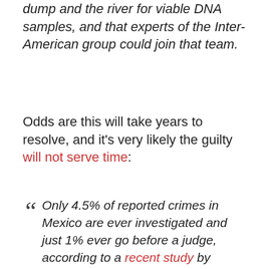dump and the river for viable DNA samples, and that experts of the Inter-American group could join that team.
Odds are this will take years to resolve, and it's very likely the guilty will not serve time:
Only 4.5% of reported crimes in Mexico are ever investigated and just 1% ever go before a judge, according to a recent study by Mexico's National Autonomous University. The criminal conviction rate in